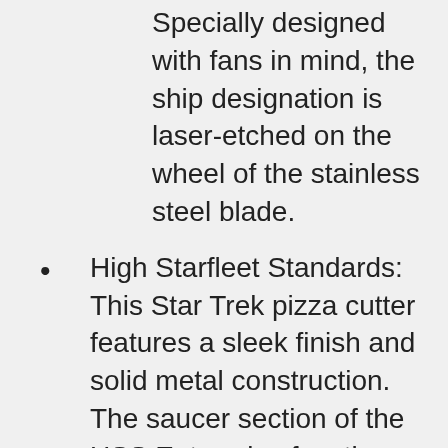Specially designed with fans in mind, the ship designation is laser-etched on the wheel of the stainless steel blade.
High Starfleet Standards: This Star Trek pizza cutter features a sleek finish and solid metal construction. The saucer section of the USS Enterprise functions as the blade while you hold the starship, making it easy to slice and handle.
Ship Specs: Measures approximately 9 inches including the blade. Perfect for everyday use, this collectible Star Trek pizza cutter is a fan-centric kitchen utensil